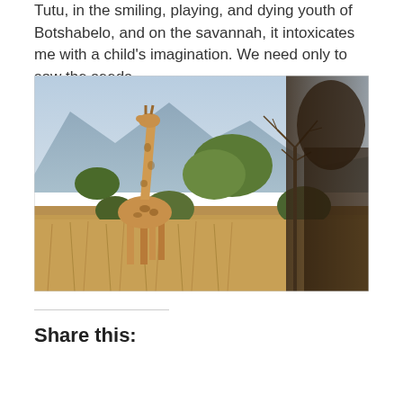Tutu, in the smiling, playing, and dying youth of Botshabelo, and on the savannah, it intoxicates me with a child's imagination. We need only to sow the seeds.
[Figure (photo): A giraffe standing among dry savannah scrubland and trees with mountains in the background, with a blurred silhouette of a person in the foreground right.]
Share this: